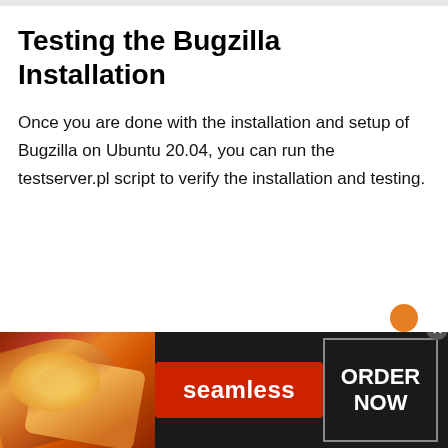Testing the Bugzilla Installation
Once you are done with the installation and setup of Bugzilla on Ubuntu 20.04, you can run the testserver.pl script to verify the installation and testing.
[Figure (infographic): Seamless food delivery advertisement banner showing pizza slices on the left, a red 'seamless' button in the center, and an 'ORDER NOW' box on the right with a close button.]